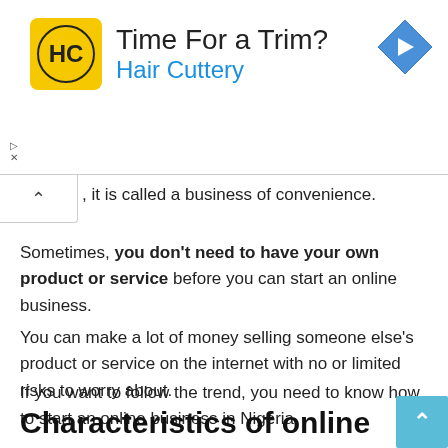[Figure (other): Hair Cuttery advertisement banner with yellow logo, 'Time For a Trim?' headline, blue 'Hair Cuttery' subtext, and blue diamond navigation arrow icon on the right]
, it is called a business of convenience.
Sometimes, you don't need to have your own product or service before you can start an online business.
You can make a lot of money selling someone else's product or service on the internet with no or limited risks to worry about.
If you want to follow the trend, you need to know how to start an online business in Nigeria.
Characteristics of online